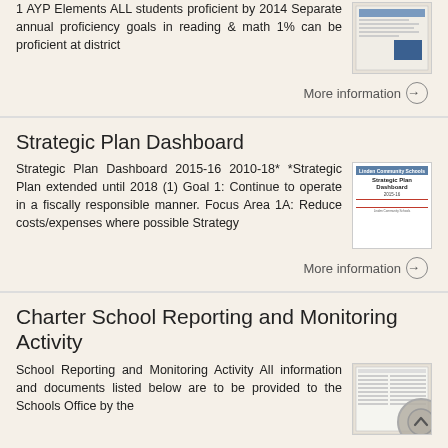1 AYP Elements ALL students proficient by 2014 Separate annual proficiency goals in reading & math 1% can be proficient at district
More information →
Strategic Plan Dashboard
Strategic Plan Dashboard 2015-16 2010-18* *Strategic Plan extended until 2018 (1) Goal 1: Continue to operate in a fiscally responsible manner. Focus Area 1A: Reduce costs/expenses where possible Strategy
More information →
Charter School Reporting and Monitoring Activity
School Reporting and Monitoring Activity All information and documents listed below are to be provided to the Schools Office by the